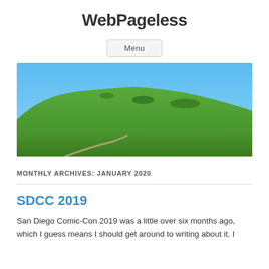WebPageless
Menu
[Figure (photo): Panoramic photo of a green grassy hill against a bright blue sky, with a dirt path visible in the foreground]
MONTHLY ARCHIVES: JANUARY 2020
SDCC 2019
San Diego Comic-Con 2019 was a little over six months ago, which I guess means I should get around to writing about it. I